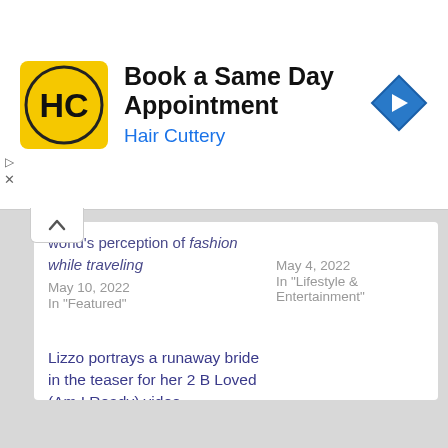[Figure (screenshot): Advertisement banner for Hair Cuttery: 'Book a Same Day Appointment' with Hair Cuttery logo (HC in yellow circle) and blue navigation arrow icon.]
world's perception of fashion while traveling
May 10, 2022
In "Featured"
May 4, 2022
In "Lifestyle & Entertainment"
Lizzo portrays a runaway bride in the teaser for her 2 B Loved (Am I Ready) video
August 17, 2022
In "Lifestyle & Entertainment"